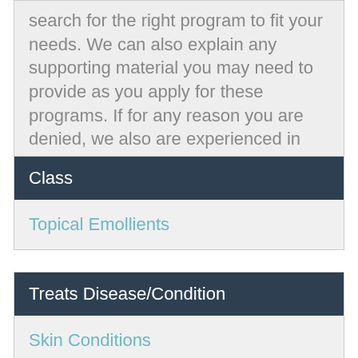search for the right program to fit your needs. We can also explain any supporting material you may need to provide as you apply for these programs. If for any reason you are denied, we also are experienced in the best appeals process with a high success rate.
| Class |
| --- |
| Topical Emollients |
| Treats Disease/Condition |
| --- |
| Skin Conditions |